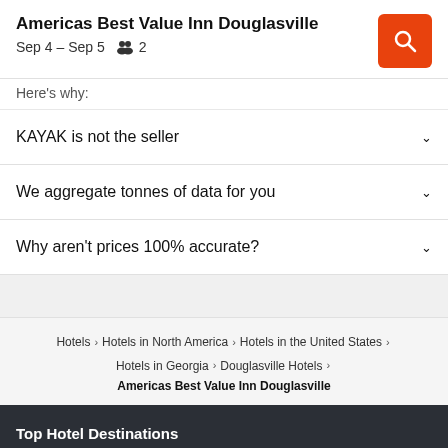Americas Best Value Inn Douglasville
Sep 4 – Sep 5   2
Here's why:
KAYAK is not the seller
We aggregate tonnes of data for you
Why aren't prices 100% accurate?
Hotels > Hotels in North America > Hotels in the United States > Hotels in Georgia > Douglasville Hotels > Americas Best Value Inn Douglasville
Top Hotel Destinations